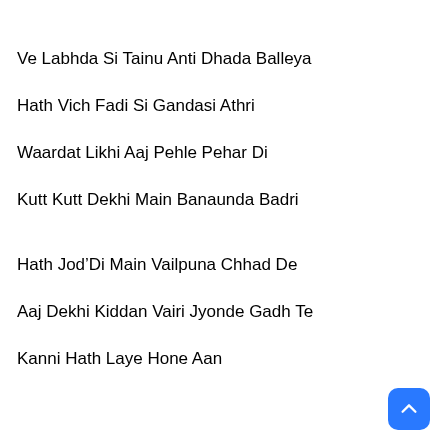Ve Labhda Si Tainu Anti Dhada Balleya
Hath Vich Fadi Si Gandasi Athri
Waardat Likhi Aaj Pehle Pehar Di
Kutt Kutt Dekhi Main Banaunda Badri
Hath Jod’Di Main Vailpuna Chhad De
Aaj Dekhi Kiddan Vairi Jyonde Gadh Te
Kanni Hath Laye Hone Aan